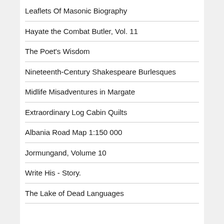Leaflets Of Masonic Biography
Hayate the Combat Butler, Vol. 11
The Poet's Wisdom
Nineteenth-Century Shakespeare Burlesques
Midlife Misadventures in Margate
Extraordinary Log Cabin Quilts
Albania Road Map 1:150 000
Jormungand, Volume 10
Write His - Story.
The Lake of Dead Languages